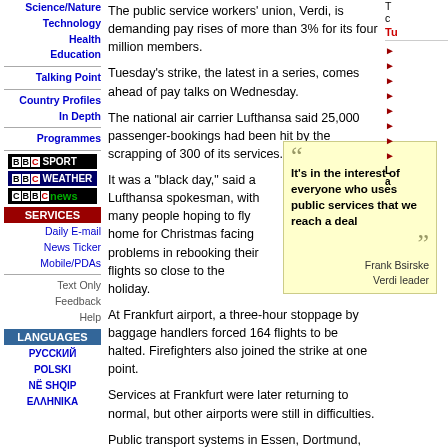Science/Nature
Technology
Health
Education
Talking Point
Country Profiles
In Depth
Programmes
The public service workers' union, Verdi, is demanding pay rises of more than 3% for its four million members.
Tuesday's strike, the latest in a series, comes ahead of pay talks on Wednesday.
The national air carrier Lufthansa said 25,000 passenger-bookings had been hit by the scrapping of 300 of its services.
It was a "black day," said a Lufthansa spokesman, with many people hoping to fly home for Christmas facing problems in rebooking their flights so close to the holiday.
[Figure (other): Pull quote box: 'It's in the interest of everyone who uses public services that we reach a deal' — Frank Bsirske, Verdi leader]
At Frankfurt airport, a three-hour stoppage by baggage handlers forced 164 flights to be halted. Firefighters also joined the strike at one point.
Services at Frankfurt were later returning to normal, but other airports were still in difficulties.
Public transport systems in Essen, Dortmund, Cologne and Bonn were badly affected, causing rush-hour problems for commuters.
Traffic wardens...
Daily E-mail
News Ticker
Mobile/PDAs
Text Only
Feedback
Help
LANGUAGES
РУССКИЙ
POLSKI
NË SHQIP
ΕΛΛΗΝΙΚΑ